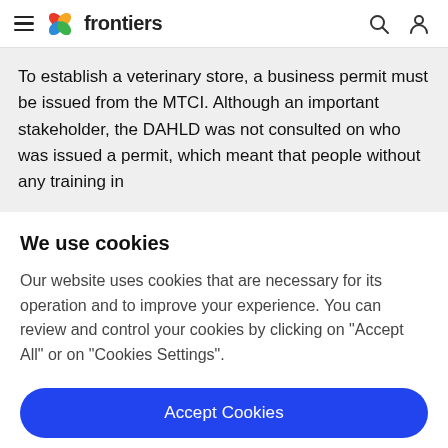frontiers
To establish a veterinary store, a business permit must be issued from the MTCI. Although an important stakeholder, the DAHLD was not consulted on who was issued a permit, which meant that people without any training in
We use cookies
Our website uses cookies that are necessary for its operation and to improve your experience. You can review and control your cookies by clicking on "Accept All" or on "Cookies Settings".
Accept Cookies
Cookies Settings